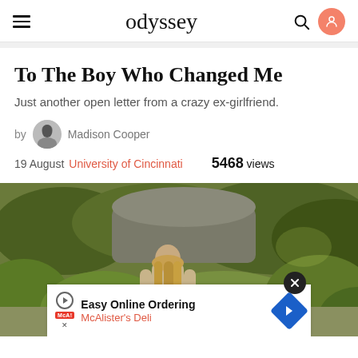odyssey
To The Boy Who Changed Me
Just another open letter from a crazy ex-girlfriend.
by Madison Cooper
19 August University of Cincinnati 5468 views
[Figure (photo): Woman with long hair seen from behind, standing in a lush green outdoor setting with rocks and foliage in the background.]
Easy Online Ordering McAlister's Deli